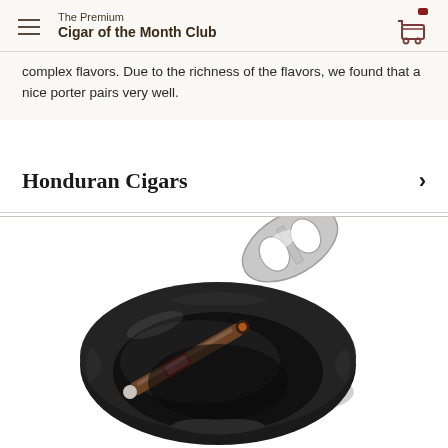The Premium Cigar of the Month Club
complex flavors. Due to the richness of the flavors, we found that a nice porter pairs very well.
Honduran Cigars
[Figure (photo): A black ceramic ashtray with a cigar resting in it, and a silver cigar cutter placed above the ashtray on a white background.]